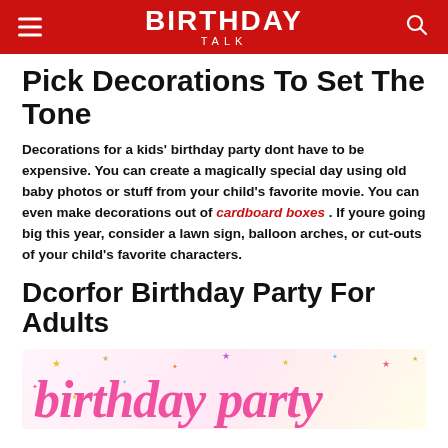BIRTHDAY TALK
Pick Decorations To Set The Tone
Decorations for a kids' birthday party dont have to be expensive. You can create a magically special day using old baby photos or stuff from your child's favorite movie. You can even make decorations out of cardboard boxes . If youre going big this year, consider a lawn sign, balloon arches, or cut-outs of your child's favorite characters.
Dcorfor Birthday Party For Adults
[Figure (photo): Birthday party themed image with pink cursive 'birthday party' text and colorful star confetti on a light background]